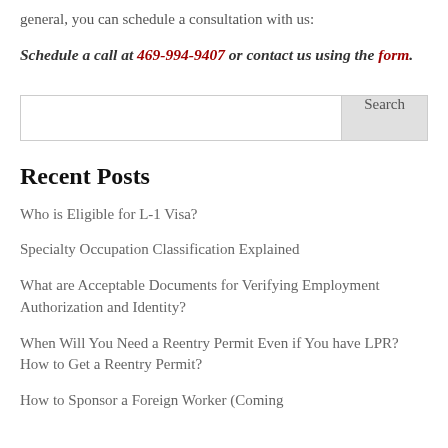general, you can schedule a consultation with us:
Schedule a call at 469-994-9407  or contact us using the form.
Who is Eligible for L-1 Visa?
Recent Posts
Who is Eligible for L-1 Visa?
Specialty Occupation Classification Explained
What are Acceptable Documents for Verifying Employment Authorization and Identity?
When Will You Need a Reentry Permit Even if You have LPR? How to Get a Reentry Permit?
How to Sponsor a Foreign Worker (Coming